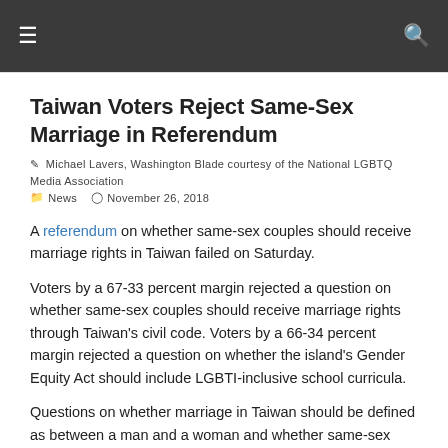☰  🔍
Taiwan Voters Reject Same-Sex Marriage in Referendum
Michael Lavers, Washington Blade courtesy of the National LGBTQ Media Association
News  November 26, 2018
A referendum on whether same-sex couples should receive marriage rights in Taiwan failed on Saturday.
Voters by a 67-33 percent margin rejected a question on whether same-sex couples should receive marriage rights through Taiwan's civil code. Voters by a 66-34 percent margin rejected a question on whether the island's Gender Equity Act should include LGBTI-inclusive school curricula.
Questions on whether marriage in Taiwan should be defined as between a man and a woman and whether same-sex couples should be able to enter into civil unions or domestic